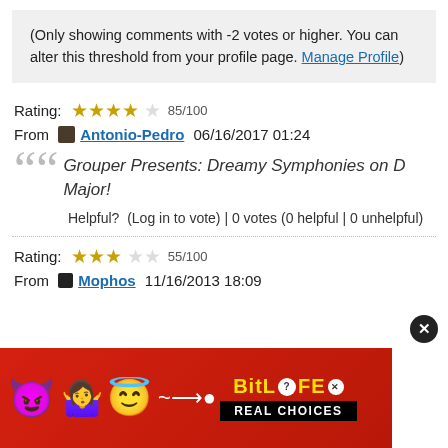(Only showing comments with -2 votes or higher. You can alter this threshold from your profile page. Manage Profile)
Rating: 85/100
From Antonio-Pedro 06/16/2017 01:24
Grouper Presents: Dreamy Symphonies on D Major!
Helpful? (Log in to vote) | 0 votes (0 helpful | 0 unhelpful)
Rating: 55/100
From Mophos 11/16/2013 18:09
[Figure (other): BitLife advertisement banner with devil emoji, woman emoji, angel emoji, BitLife logo, and REAL CHOICES text]